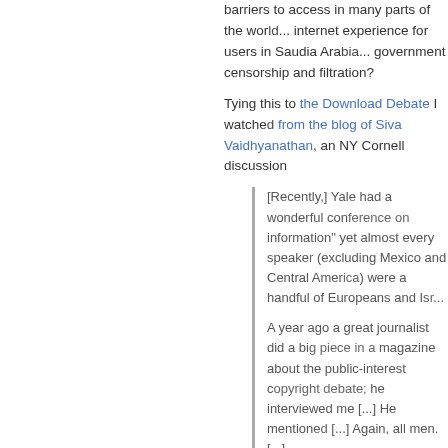barriers to access in many parts of the world... internet experience for users in Saudia Arabia... government censorship and filtration?
Tying this to the Download Debate I watched from the blog of Siva Vaidhyanathan, an NY Cornell discussion
[Recently,] Yale had a wonderful con... information" yet almost every speaker (excluding Mexico and Central Amer... were a handful of Europeans and Isr...
A year ago a great journalist did a bi... magazine about the public-interest c... he interviewed me [...] He mentioned [...] Again, all men. [...]
I told him about the great work of Ro... Samuelson, Jessica Litman, Julie Co... Bartow. [...] Coming up fast: Sonia K... Beth Simone Noveck, and Rebecca ... Jenny Toomey, Wendy Selzer, and C... contributed much. And the list beyon... United States is long and growing as...
It is easy to pin "global" on to the internet b... potential to become "global" ... but we are...